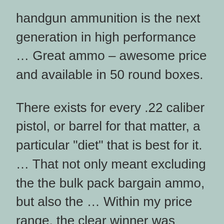handgun ammunition is the next generation in high performance … Great ammo – awesome price and available in 50 round boxes.
There exists for every .22 caliber pistol, or barrel for that matter, a particular "diet" that is best for it. … That not only meant excluding the the bulk pack bargain ammo, but also the … Within my price range, the clear winner was Federal Match.
Handgun ammo for sale that's in stock at Lucky Gunner Ammo – today! Featuring cheap handgun ammunition and bulk handgun ammo